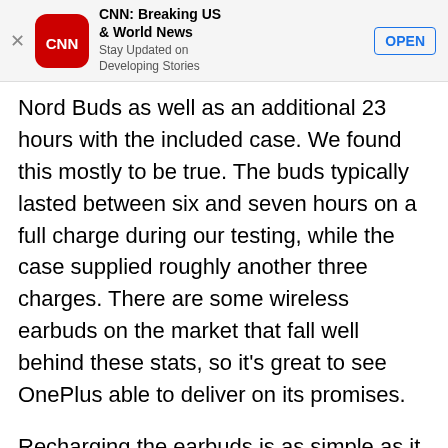[Figure (screenshot): CNN app advertisement banner with CNN logo (red rounded square with white CNN text), app title 'CNN: Breaking US & World News', subtitle 'Stay Updated on Developing Stories', and an OPEN button. A close (X) button is on the left.]
Nord Buds as well as an additional 23 hours with the included case. We found this mostly to be true. The buds typically lasted between six and seven hours on a full charge during our testing, while the case supplied roughly another three charges. There are some wireless earbuds on the market that fall well behind these stats, so it's great to see OnePlus able to deliver on its promises.
Recharging the earbuds is as simple as it gets, since your only option is to use a USB-C cable. OnePlus notes that there is a form of fast charging on the Nord Buds that can supply a five-hour charge in 10 minutes. In our testing, we were getting closer to four hours of battery life than five, but it's still handy